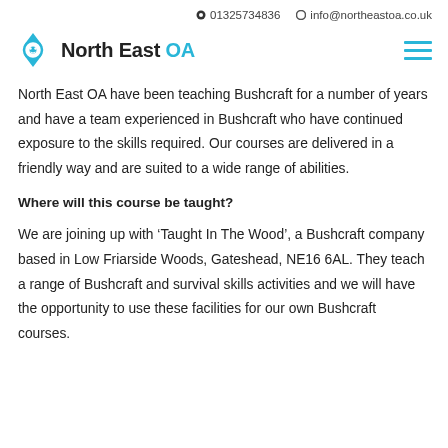01325734836  info@northeastoa.co.uk
[Figure (logo): North East OA logo with compass/arrow icon and hamburger menu icon on the right]
North East OA have been teaching Bushcraft for a number of years and have a team experienced in Bushcraft who have continued exposure to the skills required. Our courses are delivered in a friendly way and are suited to a wide range of abilities.
Where will this course be taught?
We are joining up with ‘Taught In The Wood’, a Bushcraft company based in Low Friarside Woods, Gateshead, NE16 6AL. They teach a range of Bushcraft and survival skills activities and we will have the opportunity to use these facilities for our own Bushcraft courses.